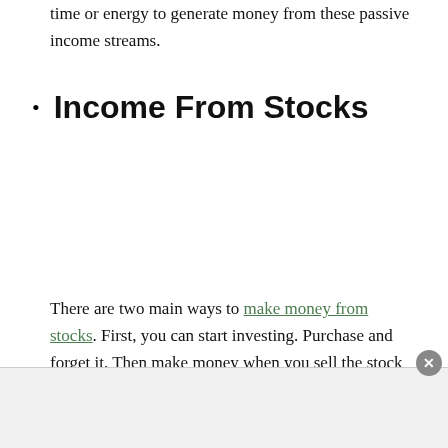time or energy to generate money from these passive income streams.
Income From Stocks
There are two main ways to make money from stocks. First, you can start investing. Purchase and forget it. Then make money when you sell the stock down the road through capital gains. That isn't a continuous form of income, but it can come